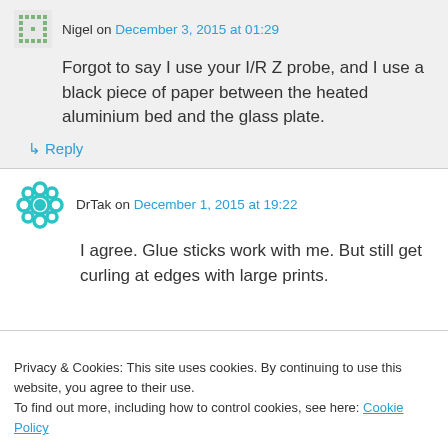Nigel on December 3, 2015 at 01:29
Forgot to say I use your I/R Z probe, and I use a black piece of paper between the heated aluminium bed and the glass plate.
↳ Reply
DrTak on December 1, 2015 at 19:22
I agree. Glue sticks work with me. But still get curling at edges with large prints.
Privacy & Cookies: This site uses cookies. By continuing to use this website, you agree to their use.
To find out more, including how to control cookies, see here: Cookie Policy
Close and accept
The same for me with UHU stick.